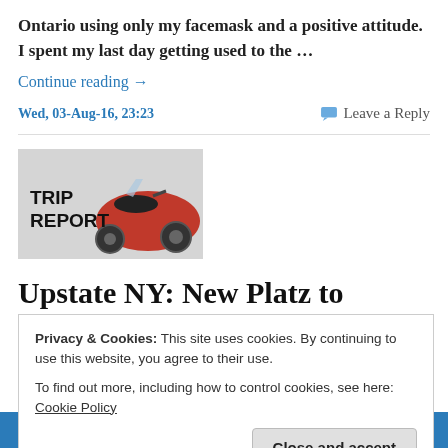Ontario using only my facemask and a positive attitude. I spent my last day getting used to the …
Continue reading →
Wed, 03-Aug-16, 23:23
Leave a Reply
[Figure (photo): Trip Report banner image with a red scooter/motorcycle and text reading TRIP REPORT]
Upstate NY: New Platz to Kingston
Privacy & Cookies: This site uses cookies. By continuing to use this website, you agree to their use.
To find out more, including how to control cookies, see here: Cookie Policy
Close and accept
Follow